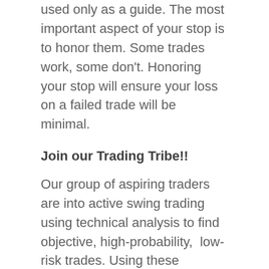used only as a guide. The most important aspect of your stop is to honor them. Some trades work, some don't. Honoring your stop will ensure your loss on a failed trade will be minimal.
Join our Trading Tribe!!
Our group of aspiring traders are into active swing trading using technical analysis to find objective, high-probability,  low-risk trades. Using these processes we've been fortunate to be winning; not perfect but winning. If that is appealing to you, join us!  I'd like to think you'd benefit from the work.  You'll get premium content 6 times a week including a copy of my Daily Profit Compass, Weekend Profit Navigator, and Trades about to Happen along